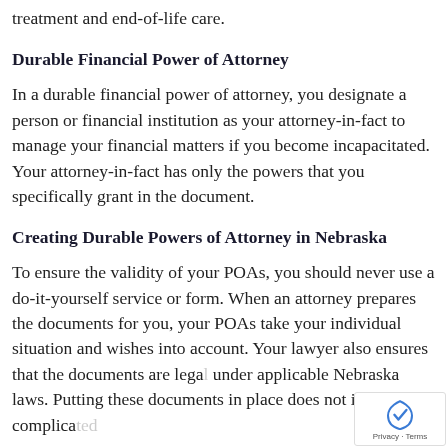treatment and end-of-life care.
Durable Financial Power of Attorney
In a durable financial power of attorney, you designate a person or financial institution as your attorney-in-fact to manage your financial matters if you become incapacitated. Your attorney-in-fact has only the powers that you specifically grant in the document.
Creating Durable Powers of Attorney in Nebraska
To ensure the validity of your POAs, you should never use a do-it-yourself service or form. When an attorney prepares the documents for you, your POAs take your individual situation and wishes into account. Your lawyer also ensures that the documents are legally valid under applicable Nebraska laws. Putting these documents in place does not involve a complicated